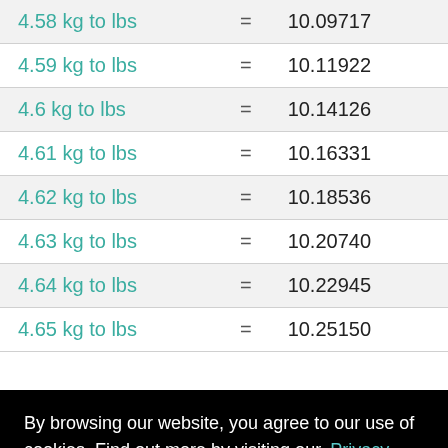| kg to lbs | = | lbs |
| --- | --- | --- |
| 4.58 kg to lbs | = | 10.09717 |
| 4.59 kg to lbs | = | 10.11922 |
| 4.6 kg to lbs | = | 10.14126 |
| 4.61 kg to lbs | = | 10.16331 |
| 4.62 kg to lbs | = | 10.18536 |
| 4.63 kg to lbs | = | 10.20740 |
| 4.64 kg to lbs | = | 10.22945 |
| 4.65 kg to lbs | = | 10.25150 |
| 4.69 kg to lbs | = | 10.33968 |
By browsing our website, you agree to our use of cookies. Find out more by visiting our. Privacy Policy here. Accept